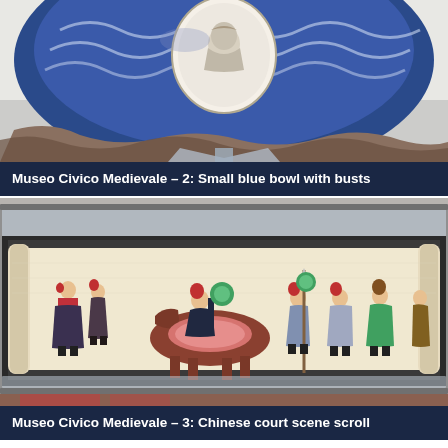[Figure (photo): Close-up photograph of a small blue decorative bowl with white bust medallion in the center, displayed on a clear acrylic stand against a light background. The bowl has blue and white floral/decorative patterns.]
Museo Civico Medievale – 2: Small blue bowl with busts
[Figure (photo): Photograph of a Chinese court scene scroll displayed open in a glass/acrylic display case. The scroll shows colorful painted figures including mounted riders, soldiers, and courtiers in traditional Chinese attire with red hats and robes.]
Museo Civico Medievale – 3: Chinese court scene scroll